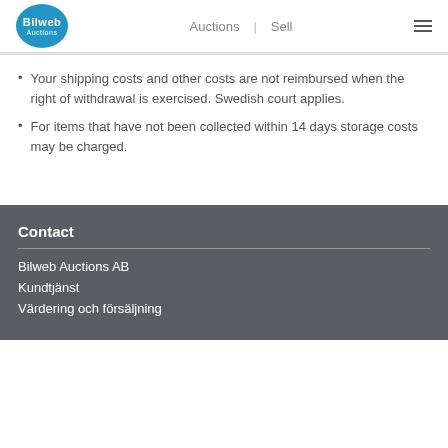Bilweb Auctions | Auctions | Sell
Your shipping costs and other costs are not reimbursed when the right of withdrawal is exercised. Swedish court applies.
For items that have not been collected within 14 days storage costs may be charged.
Contact
Bilweb Auctions AB
Kundtjänst
Värdering och försäljning